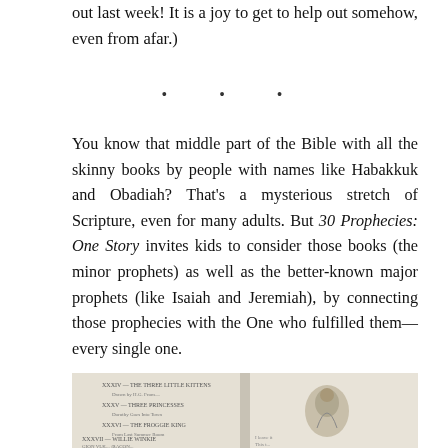out last week! It is a joy to get to help out somehow, even from afar.)
· · ·
You know that middle part of the Bible with all the skinny books by people with names like Habakkuk and Obadiah? That's a mysterious stretch of Scripture, even for many adults. But 30 Prophecies: One Story invites kids to consider those books (the minor prophets) as well as the better-known major prophets (like Isaiah and Jeremiah), by connecting those prophecies with the One who fulfilled them—every single one.
[Figure (photo): Photo of an open book showing a table of contents with illustrated entries including 'The Three Little Kittens', 'Three Princesses', 'The Froggie King', 'Willie Winkie', and other titles. A small illustration of a figure in a landscape appears on the right page.]